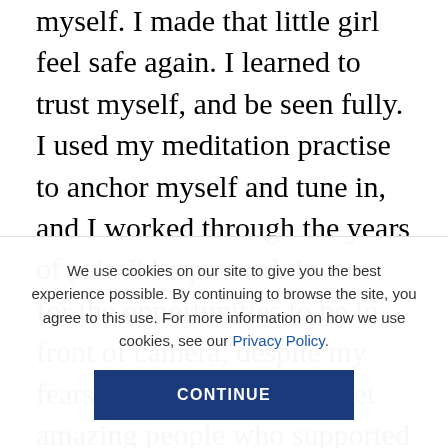my demons, learning to soothe that scared part of myself. I made that little girl feel safe again. I learned to trust myself, and be seen fully. I used my meditation practise to anchor myself and tune in, and I worked through the years of pain I'd repressed. I went for the opportunities to be in front of camera, despite my fears, and it payed off. I met amazing people who supported me to go further.

Every time I step out into the spotlight it takes conscious work. There's a shadow to embrace, not
We use cookies on our site to give you the best experience possible. By continuing to browse the site, you agree to this use. For more information on how we use cookies, see our Privacy Policy.
CONTINUE